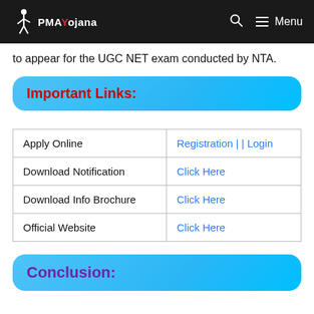PMAYojana — Menu
to appear for the UGC NET exam conducted by NTA.
Important Links:
|  |  |
| --- | --- |
| Apply Online | Registration || Login |
| Download Notification | Click Here |
| Download Info Brochure | Click Here |
| Official Website | Click Here |
Conclusion: